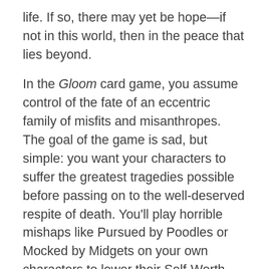life. If so, there may yet be hope—if not in this world, then in the peace that lies beyond.
In the Gloom card game, you assume control of the fate of an eccentric family of misfits and misanthropes. The goal of the game is sad, but simple: you want your characters to suffer the greatest tragedies possible before passing on to the well-deserved respite of death. You'll play horrible mishaps like Pursued by Poodles or Mocked by Midgets on your own characters to lower their Self-Worth scores, while trying to cheer your opponents' characters with marriages and other happy occasions that pile on positive points. The player with the lowest total Family Value wins.
Printed on transparent plastic cards, Gloom features an innovative design by noted RPG author Keith Baker. Multiple modifier cards can